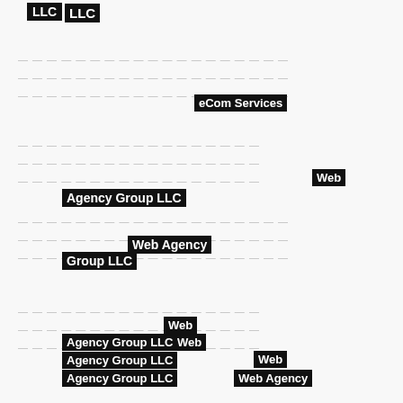LLC
eCom Services
Web
Agency Group LLC
Web Agency
Group LLC
Web
Agency Group LLC
Web
Agency Group LLC
Agency Group LLC
Web
Web Agency